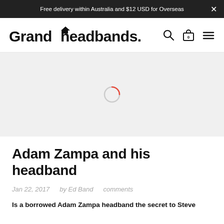Free delivery within Australia and $12 USD for Overseas
Grandheadbands.
[Figure (other): Loading spinner / placeholder image area for article hero image, light gray background with a circular loading spinner in the center (partially red arc).]
Adam Zampa and his headband
Jan 22, 2017    by Ed Band    comments
Is a borrowed Adam Zampa headband the secret to Steve